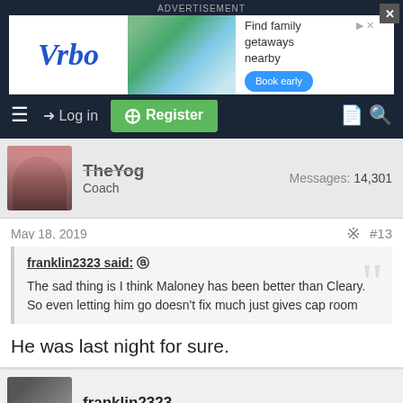ADVERTISEMENT
[Figure (screenshot): Vrbo advertisement banner: Find family getaways nearby. Book early button.]
Log in | Register
TheYog
Coach
Messages: 14,301
May 18, 2019 #13
franklin2323 said:
The sad thing is I think Maloney has been better than Cleary. So even letting him go doesn't fix much just gives cap room
He was last night for sure.
franklin2323
Immortal
Messages: 33,545